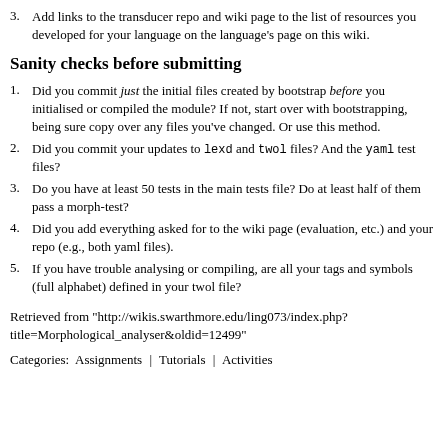3. Add links to the transducer repo and wiki page to the list of resources you developed for your language on the language's page on this wiki.
Sanity checks before submitting
1. Did you commit just the initial files created by bootstrap before you initialised or compiled the module? If not, start over with bootstrapping, being sure copy over any files you've changed. Or use this method.
2. Did you commit your updates to lexd and twol files? And the yaml test files?
3. Do you have at least 50 tests in the main tests file? Do at least half of them pass a morph-test?
4. Did you add everything asked for to the wiki page (evaluation, etc.) and your repo (e.g., both yaml files).
5. If you have trouble analysing or compiling, are all your tags and symbols (full alphabet) defined in your twol file?
Retrieved from "http://wikis.swarthmore.edu/ling073/index.php?title=Morphological_analyser&oldid=12499"
Categories:  Assignments | Tutorials | Activities